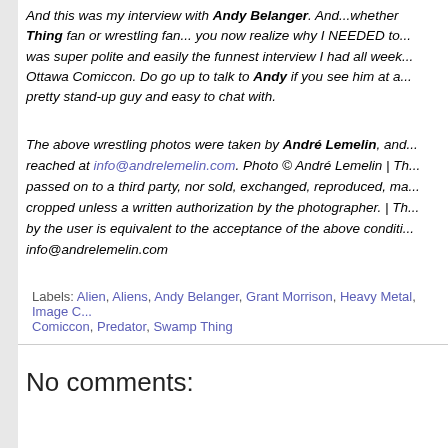And this was my interview with Andy Belanger. And...whether Thing fan or wrestling fan... you now realize why I NEEDED to... was super polite and easily the funnest interview I had all week... Ottawa Comiccon. Do go up to talk to Andy if you see him at a... pretty stand-up guy and easy to chat with.
The above wrestling photos were taken by André Lemelin, and... reached at info@andrelemelin.com. Photo © André Lemelin | Th... passed on to a third party, nor sold, exchanged, reproduced, ma... cropped unless a written authorization by the photographer. | Th... by the user is equivalent to the acceptance of the above conditi... info@andrelemelin.com
Labels: Alien, Aliens, Andy Belanger, Grant Morrison, Heavy Metal, Image C... Comiccon, Predator, Swamp Thing
No comments: